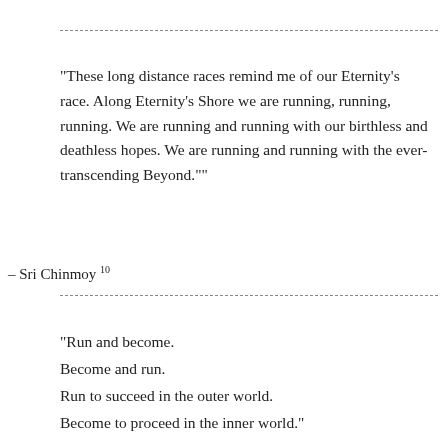“These long distance races remind me of our Eternity’s race. Along Eternity’s Shore we are running, running, running. We are running and running with our birthless and deathless hopes. We are running and running with the ever-transcending Beyond.””
– Sri Chinmoy 10
“Run and become.
Become and run.
Run to succeed in the outer world.
Become to proceed in the inner world.”